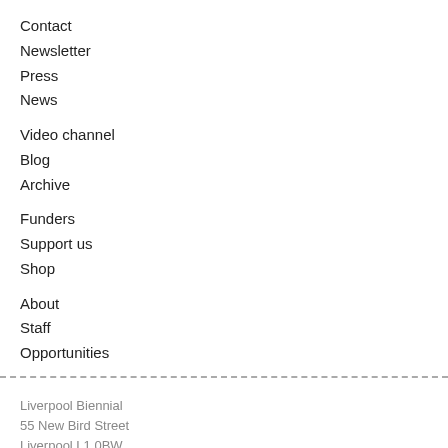Contact
Newsletter
Press
News
Video channel
Blog
Archive
Funders
Support us
Shop
About
Staff
Opportunities
Liverpool Biennial
55 New Bird Street
Liverpool L1 0BW
T +44 (0)151 709 7444
info@biennial.com